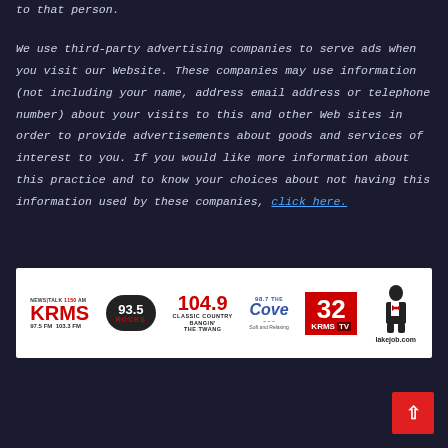to that person.
We use third-party advertising companies to serve ads when you visit our Website. These companies may use information (not including your name, address email address or telephone number) about your visits to this and other Web sites in order to provide advertisements about goods and services of interest to you. If you would like more information about this practice and to know your choices about not having this information used by these companies, click here.
[Figure (logo): Banner with radio/TV station logos: KRMS News Talk 1150 AM 97.5 FM 103.3 FM, 93.5 Rocks, 104.9 Classic Country Bangin' The Twang, 98.7 The Cove, 32 KRMS TV, lakejob.com]